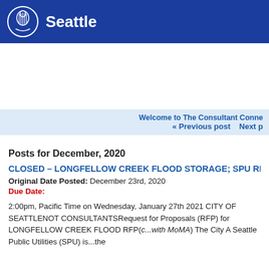Seattle
Welcome to The Consultant Conne
« Previous post    Next p
Posts for December, 2020
CLOSED – LONGFELLOW CREEK FLOOD STORAGE; SPU RFP
Original Date Posted: December 23rd, 2020
Due Date:
2:00pm, Pacific Time on Wednesday, January 27th 2021 CITY OF SEATTLENOT CONSULTANTSRequest for Proposals (RFP) for LONGFELLOW CREEK FLOOD RFP(c...with MoMA) The City A Seattle Public Utilities (SPU) is...the